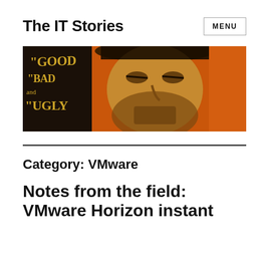The IT Stories
[Figure (illustration): Banner image styled like The Good, The Bad and The Ugly movie poster. Orange background with a western man's face and text reading 'The GOOD the BAD and the UGLY' on the left side in yellow serif letters.]
Category: VMware
Notes from the field: VMware Horizon instant